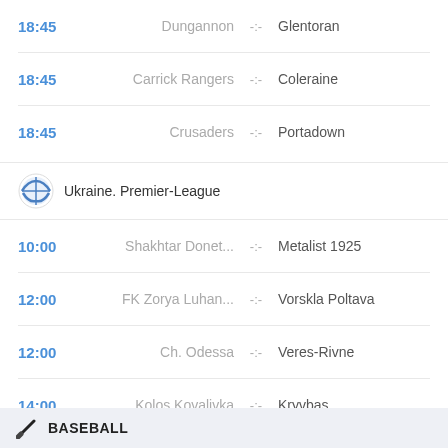18:45  Dungannon  -:-  Glentoran
18:45  Carrick Rangers  -:-  Coleraine
18:45  Crusaders  -:-  Portadown
Ukraine. Premier-League
10:00  Shakhtar Donet...  -:-  Metalist 1925
12:00  FK Zorya Luhan...  -:-  Vorskla Poltava
12:00  Ch. Odessa  -:-  Veres-Rivne
14:00  Kolos Kovalivka  -:-  Kryvbas
South Africa. Premier League
17:30  Cape Town City  -:-  Kaizer Chiefs
17:30  Swallows  -:-  Sekhukhune
BASEBALL